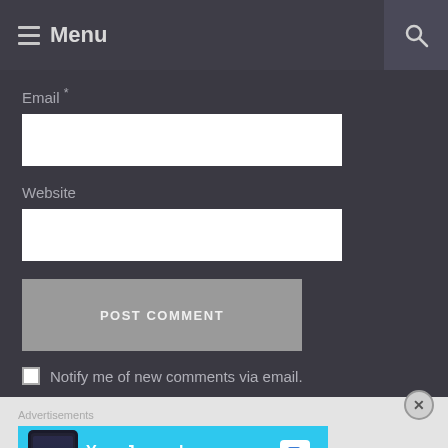Menu
Email *
[Figure (screenshot): Empty email text input field]
Website
[Figure (screenshot): Empty website text input field]
[Figure (screenshot): POST COMMENT button]
Notify me of new comments via email.
[Figure (screenshot): Day One – Your Journal for life advertisement banner]
Advertisements
REPORT THIS AD